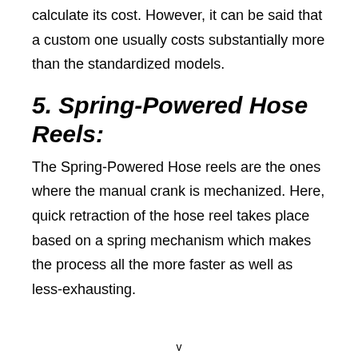calculate its cost. However, it can be said that a custom one usually costs substantially more than the standardized models.
5. Spring-Powered Hose Reels:
The Spring-Powered Hose reels are the ones where the manual crank is mechanized. Here, quick retraction of the hose reel takes place based on a spring mechanism which makes the process all the more faster as well as less-exhausting.
v